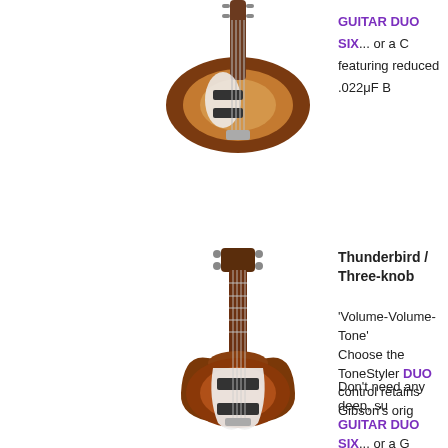[Figure (photo): Sunburst jazz-style bass guitar, top portion cropped]
GUITAR DUO SIX... or a C featuring reduced .022μF B
[Figure (photo): Gibson Thunderbird bass guitar, sunburst finish with white pickguard, full body shot]
Thunderbird / Three-knob
'Volume-Volume-Tone' Choose the ToneStyler DUO control retains Gibson's orig
Don't need any deep, su GUITAR DUO SIX... or a G featuring reduced .022μF EQ